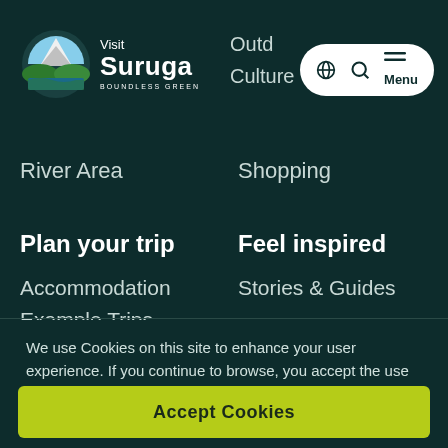[Figure (logo): Visit Suruga logo with mountain and green fields icon, text 'Visit Suruga BOUNDLESS GREEN']
Outd... Culture
River Area
Shopping
Plan your trip
Feel inspired
Accommodation
Example Trips
Stories & Guides
We use Cookies on this site to enhance your user experience. If you continue to browse, you accept the use of Cookies on our site. See our Cookie policy for more information.
Accept Cookies